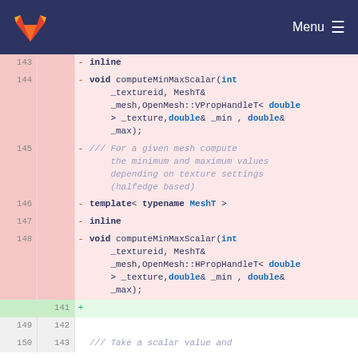[Figure (screenshot): GitLab navigation bar with logo and Menu hamburger button]
143  -  inline
144  -  void computeMinMaxScalar(int _textureid, MeshT& _mesh,OpenMesh::VPropHandleT< double > _texture,double& _min , double& _max);
145  -  /// For a given mesh compute the minimum and maximum values depending on texture settings (halfedge based)
146  -  template< typename MeshT >
147  -  inline
148  -  void computeMinMaxScalar(int _textureid, MeshT& _mesh,OpenMesh::HPropHandleT< double > _texture,double& _min , double& _max);
141  +
149  142
150  143  /// Take a scalar value and